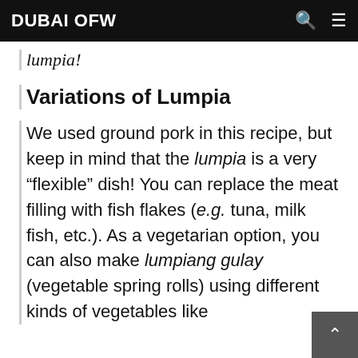DUBAI OFW
lumpia!
Variations of Lumpia
We used ground pork in this recipe, but keep in mind that the lumpia is a very “flexible” dish! You can replace the meat filling with fish flakes (e.g. tuna, milk fish, etc.). As a vegetarian option, you can also make lumpiang gulay (vegetable spring rolls) using different kinds of vegetables like